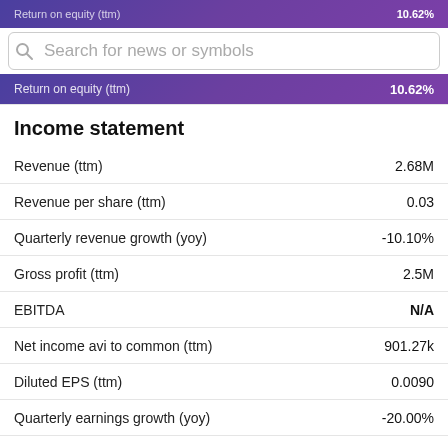Return on equity (ttm)   10.62%
Search for news or symbols
Return on equity (ttm)   10.62%
Income statement
|  |  |
| --- | --- |
| Revenue (ttm) | 2.68M |
| Revenue per share (ttm) | 0.03 |
| Quarterly revenue growth (yoy) | -10.10% |
| Gross profit (ttm) | 2.5M |
| EBITDA | N/A |
| Net income avi to common (ttm) | 901.27k |
| Diluted EPS (ttm) | 0.0090 |
| Quarterly earnings growth (yoy) | -20.00% |
Balance sheet